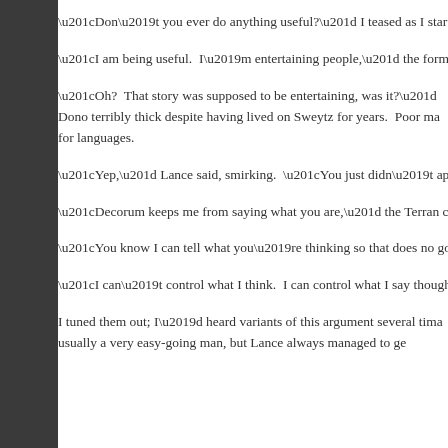“Don’t you ever do anything useful?” I teased as I started cookin
“I am being useful.  I’m entertaining people,” the former space r
“Oh?  That story was supposed to be entertaining, was it?” Dono terribly thick despite having lived on Sweytz for years.  Poor ma for languages.
“Yep,” Lance said, smirking.  “You just didn’t appreciate it cuz y
“Decorum keeps me from saying what you are,” the Terran coun
“You know I can tell what you’re thinking so that does no good,
“I can’t control what I think.  I can control what I say though.  Ye
I tuned them out; I’d heard variants of this argument several tima usually a very easy-going man, but Lance always managed to ge